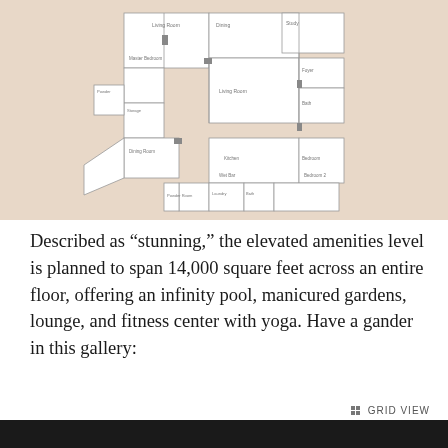[Figure (schematic): Apartment floor plan diagram showing multiple rooms including living room, dining room, kitchen, bedrooms, and bathrooms, rendered on a beige/tan background with white rooms and thin black lines.]
Described as “stunning,” the elevated amenities level is planned to span 14,000 square feet across an entire floor, offering an infinity pool, manicured gardens, lounge, and fitness center with yoga. Have a gander in this gallery:
GRID VIEW